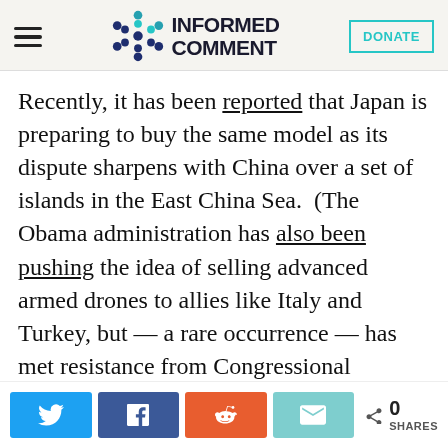Informed Comment
Recently, it has been reported that Japan is preparing to buy the same model as its dispute sharpens with China over a set of islands in the East China Sea. (The Obama administration has also been pushing the idea of selling advanced armed drones to allies like Italy and Turkey, but — a rare occurrence — has met resistance from Congressional representatives worrying about other countries pulling a “Washington”: that is, choosing its